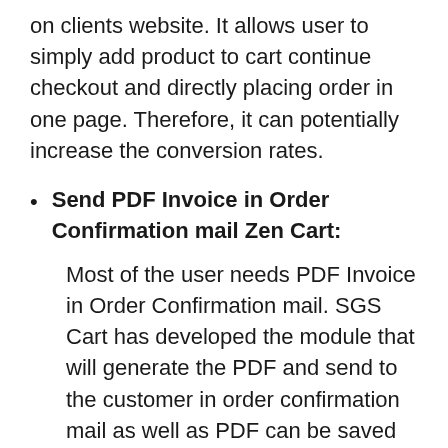on clients website. It allows user to simply add product to cart continue checkout and directly placing order in one page. Therefore, it can potentially increase the conversion rates.
Send PDF Invoice in Order Confirmation mail Zen Cart:
Most of the user needs PDF Invoice in Order Confirmation mail. SGS Cart has developed the module that will generate the PDF and send to the customer in order confirmation mail as well as PDF can be saved on the Server. The PDF Invoice is been sent to the Zen Cart admin as well.